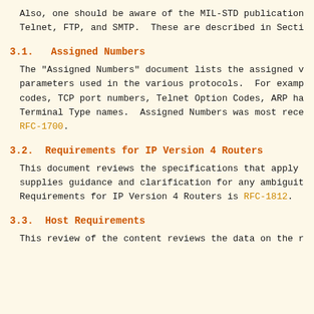Also, one should be aware of the MIL-STD publication Telnet, FTP, and SMTP.  These are described in Secti
3.1.   Assigned Numbers
The "Assigned Numbers" document lists the assigned v parameters used in the various protocols.  For examp codes, TCP port numbers, Telnet Option Codes, ARP ha Terminal Type names.  Assigned Numbers was most rece RFC-1700.
3.2.  Requirements for IP Version 4 Routers
This document reviews the specifications that apply  supplies guidance and clarification for any ambiguit Requirements for IP Version 4 Routers is RFC-1812.
3.3.  Host Requirements
This review of the content reviews the data on the r